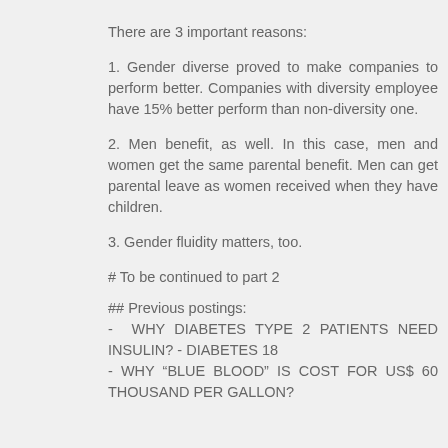There are 3 important reasons:
1. Gender diverse proved to make companies to perform better. Companies with diversity employee have 15% better perform than non-diversity one.
2. Men benefit, as well. In this case, men and women get the same parental benefit. Men can get parental leave as women received when they have children.
3. Gender fluidity matters, too.
# To be continued to part 2
## Previous postings:
- WHY DIABETES TYPE 2 PATIENTS NEED INSULIN? - DIABETES 18
- WHY “BLUE BLOOD” IS COST FOR US$ 60 THOUSAND PER GALLON?